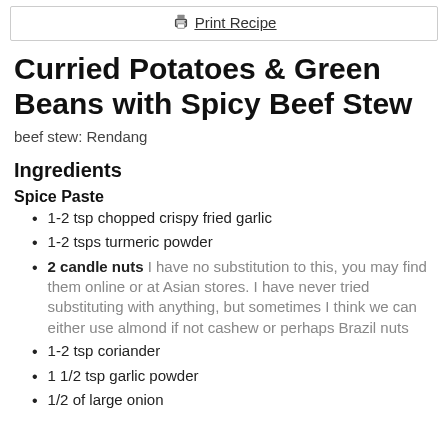Print Recipe
Curried Potatoes & Green Beans with Spicy Beef Stew
beef stew: Rendang
Ingredients
Spice Paste
1-2 tsp chopped crispy fried garlic
1-2 tsps turmeric powder
2 candle nuts I have no substitution to this, you may find them online or at Asian stores. I have never tried substituting with anything, but sometimes I think we can either use almond if not cashew or perhaps Brazil nuts
1-2 tsp coriander
1 1/2 tsp garlic powder
1/2 of large onion